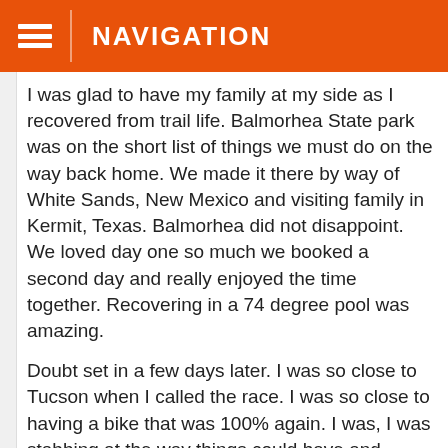NAVIGATION
I was glad to have my family at my side as I recovered from trail life. Balmorhea State park was on the short list of things we must do on the way back home. We made it there by way of White Sands, New Mexico and visiting family in Kermit, Texas. Balmorhea did not disappoint. We loved day one so much we booked a second day and really enjoyed the time together. Recovering in a 74 degree pool was amazing.
Doubt set in a few days later. I was so close to Tucson when I called the race. I was so close to having a bike that was 100% again. I was, I was stabbing at the way things could have and should have happened. My old basketball coach, Casy Jones, had a saying